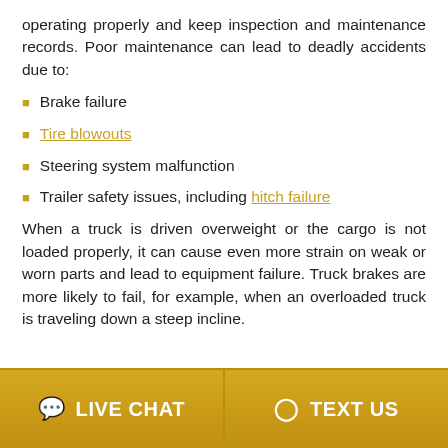operating properly and keep inspection and maintenance records. Poor maintenance can lead to deadly accidents due to:
Brake failure
Tire blowouts
Steering system malfunction
Trailer safety issues, including hitch failure
When a truck is driven overweight or the cargo is not loaded properly, it can cause even more strain on weak or worn parts and lead to equipment failure. Truck brakes are more likely to fail, for example, when an overloaded truck is traveling down a steep incline.
LIVE CHAT  TEXT US